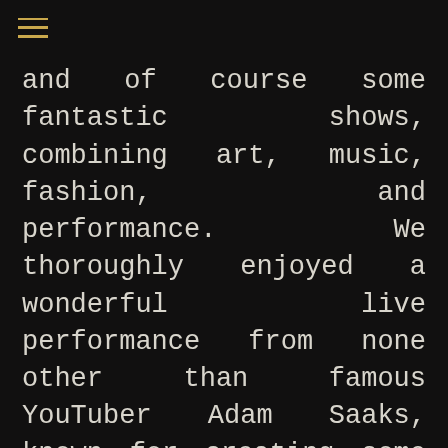and of course some fantastic shows, combining art, music, fashion, and performance. We thoroughly enjoyed a wonderful live performance from none other than famous YouTuber Adam Saaks, known for creating some of the world's most intricate, stunning hand-cut swimsuits whilst the guest is still wearing them. And his models were none other than Claudia Carpentier and Cloe Carvallo. Nobody could take their eyes off the scissors as